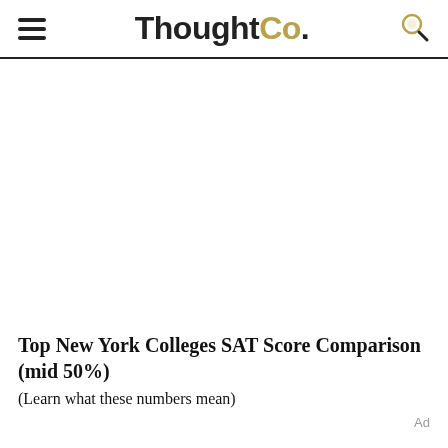ThoughtCo.
Top New York Colleges SAT Score Comparison (mid 50%)
(Learn what these numbers mean)